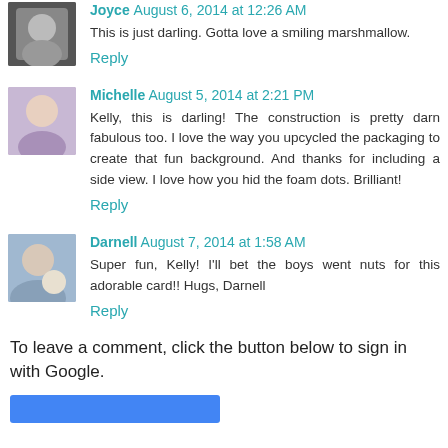This is just darling. Gotta love a smiling marshmallow.
Reply
Michelle   August 5, 2014 at 2:21 PM
Kelly, this is darling! The construction is pretty darn fabulous too. I love the way you upcycled the packaging to create that fun background. And thanks for including a side view. I love how you hid the foam dots. Brilliant!
Reply
Darnell   August 7, 2014 at 1:58 AM
Super fun, Kelly! I'll bet the boys went nuts for this adorable card!! Hugs, Darnell
Reply
To leave a comment, click the button below to sign in with Google.